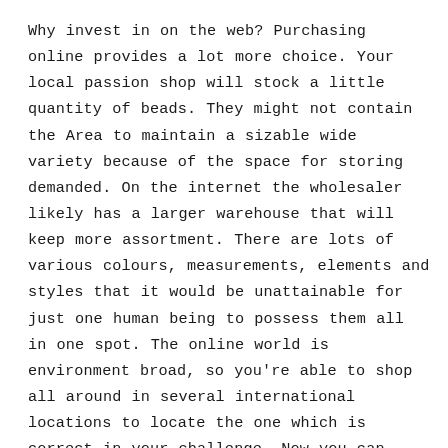Why invest in on the web? Purchasing online provides a lot more choice. Your local passion shop will stock a little quantity of beads. They might not contain the Area to maintain a sizable wide variety because of the space for storing demanded. On the internet the wholesaler likely has a larger warehouse that will keep more assortment. There are lots of various colours, measurements, elements and styles that it would be unattainable for just one human being to possess them all in one spot. The online world is environment broad, so you're able to shop all around in several international locations to locate the one which is correct in your challenge. Now you can drop by Japan on the web and see what options they have in inventory. Order on the web and have them shipped